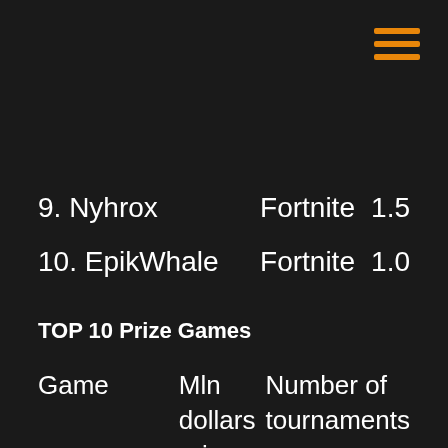[Figure (other): Hamburger menu icon — three horizontal orange bars in the top-right corner]
9. Nyhrox    Fortnite    1.5
10. EpikWhale    Fortnite    1.0
TOP 10 Prize Games
| Game | Mln dollars prize pool | Number of tournaments |
| --- | --- | --- |